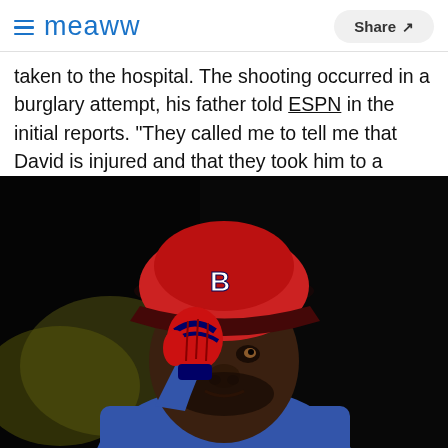Meaww | Share
taken to the hospital. The shooting occurred in a burglary attempt, his father told ESPN in the initial reports. "They called me to tell me that David is injured and that they took him to a medical center, but they did not tell me how he is or exactly where he was transferred."
[Figure (photo): David Ortiz in a Boston Red Sox cap and blue jersey, wearing red batting gloves, raising his hand]